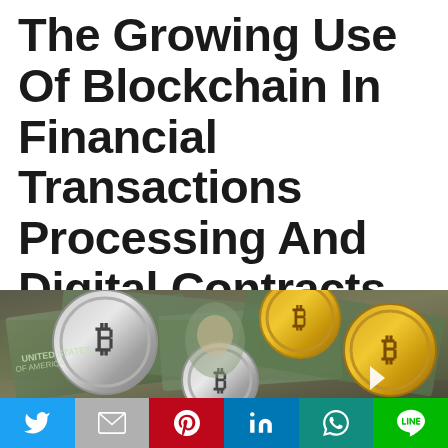The Growing Use Of Blockchain In Financial Transactions Processing And Digital Contracts
[Figure (photo): Photo of gold and silver Bitcoin coins scattered over US hundred dollar bills, symbolizing cryptocurrency and financial transactions.]
[Figure (infographic): Social media share bar with six buttons: Twitter (blue), Mail (gray), Pinterest (red), LinkedIn (blue), WhatsApp (teal), LINE (green).]